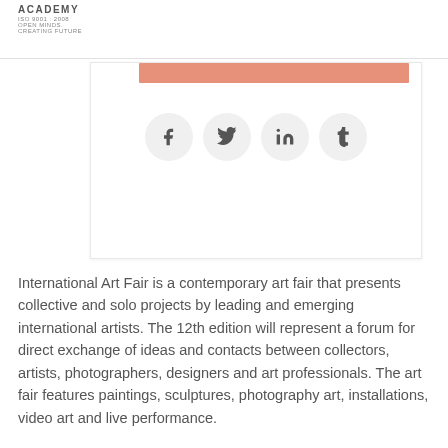ACADEMY
ISO 9001 : 2008
OPEN MINDS.
CREATING FUTURE
[Figure (other): Social media sharing card with a salmon/coral colored banner at top and four social media icon circles below: Facebook (f), Twitter (bird), LinkedIn (in), Tumblr (t)]
International Art Fair is a contemporary art fair that presents collective and solo projects by leading and emerging international artists. The 12th edition will represent a forum for direct exchange of ideas and contacts between collectors, artists, photographers, designers and art professionals. The art fair features paintings, sculptures, photography art, installations, video art and live performance.